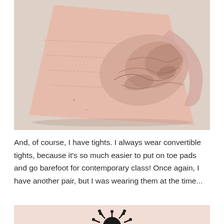[Figure (photo): A crumpled pair of pink/nude convertible dance tights laid out on a light surface, with one leg bunched up and twisted, showing wear and use marks.]
And, of course, I have tights. I always wear convertible tights, because it's so much easier to put on toe pads and go barefoot for contemporary class! Once again, I have another pair, but I was wearing them at the time...
[Figure (photo): Partial view of a dark spiky object (possibly a decorative pin cushion or hairpiece) against a light pink background, cropped at the bottom of the page.]